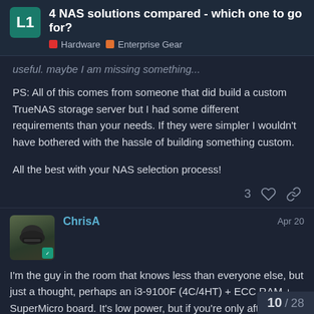4 NAS solutions compared - which one to go for? | Hardware | Enterprise Gear
useful. Maybe I am missing something...
PS: All of this comes from someone that did build a custom TrueNAS storage server but I had some different requirements than your needs. If they were simpler I wouldn't have bothered with the hassle of building something custom.
All the best with your NAS selection process!
ChrisA  Apr 20
I'm the guy in the room that knows less than everyone else, but just a thought, perhaps an i3-9100F (4C/4HT) + ECC RAM + SuperMicro board. It's low power, but if you're only after reliable storage and no VM's, it might do  you're using a reliable file system, you cc